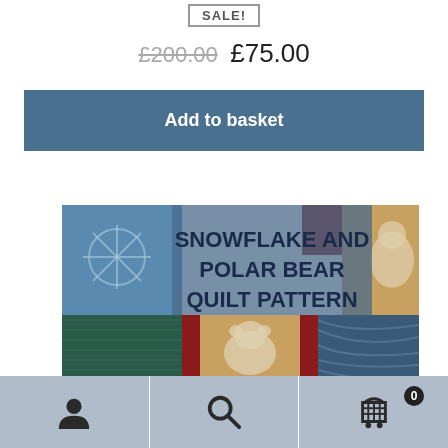SALE!
£200.00  £75.00
Add to basket
[Figure (photo): Snowflake and Polar Bear Quilt Pattern product image showing a quilt with snowflake and polar bear motifs in blue, red, and tan fabric patches. The title 'SNOWFLAKE AND POLAR BEAR QUILT PATTERN' is overlaid on the image. A bright blue banner appears at the bottom of the image.]
Navigation bar with user icon, search icon, and shopping cart icon with badge showing 0